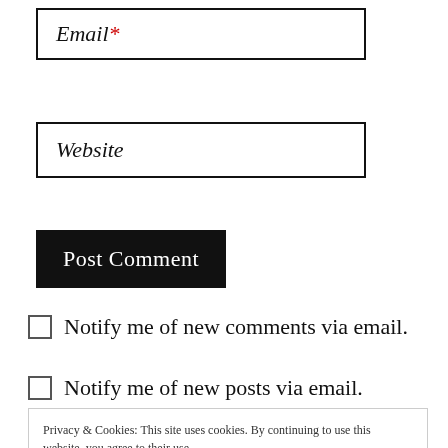Email*
Website
Post Comment
Notify me of new comments via email.
Notify me of new posts via email.
Privacy & Cookies: This site uses cookies. By continuing to use this website, you agree to their use. To find out more, including how to control cookies, see here: Cookie Policy
Close and accept